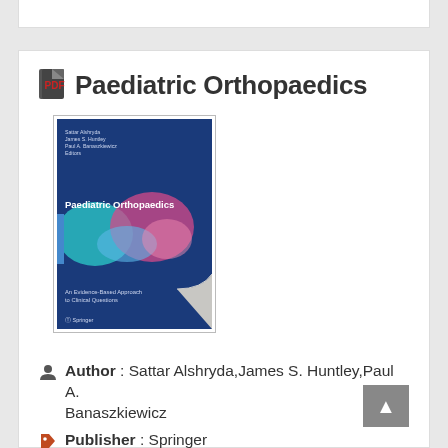Paediatric Orthopaedics
[Figure (photo): Book cover of 'Paediatric Orthopaedics: An Evidence-Based Approach to Clinical Questions' published by Springer, with editors Sattar Alshryda, James S. Huntley, Paul A. Banaszkiewicz. Blue cover with colorful abstract medical imagery.]
Author : Sattar Alshryda,James S. Huntley,Paul A. Banaszkiewicz
Publisher : Springer
Release : 2016-11-24